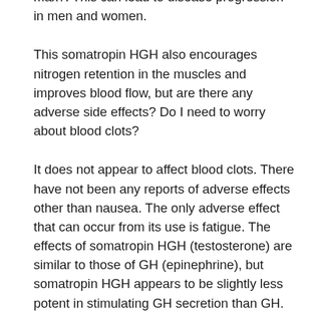max?. This can lead to disease progression in men and women.
This somatropin HGH also encourages nitrogen retention in the muscles and improves blood flow, but are there any adverse side effects? Do I need to worry about blood clots?
It does not appear to affect blood clots. There have not been any reports of adverse effects other than nausea. The only adverse effect that can occur from its use is fatigue. The effects of somatropin HGH (testosterone) are similar to those of GH (epinephrine), but somatropin HGH appears to be slightly less potent in stimulating GH secretion than GH.
Is somatropin HGH available as injectable solution? Also, is it possible to use more than